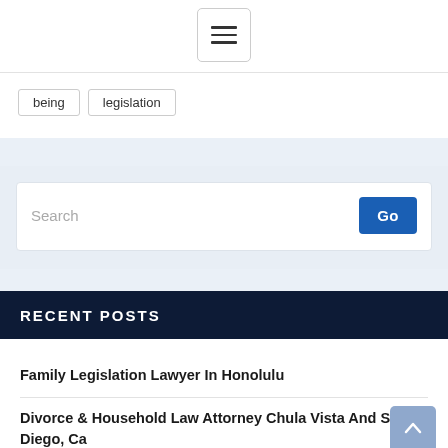[Figure (screenshot): Hamburger menu button icon with three horizontal lines inside a rounded rectangle border]
being  legislation
[Figure (screenshot): Search input field with placeholder text 'Search' and a blue 'Go' button]
RECENT POSTS
Family Legislation Lawyer In Honolulu
Divorce & Household Law Attorney Chula Vista And San Diego, Ca